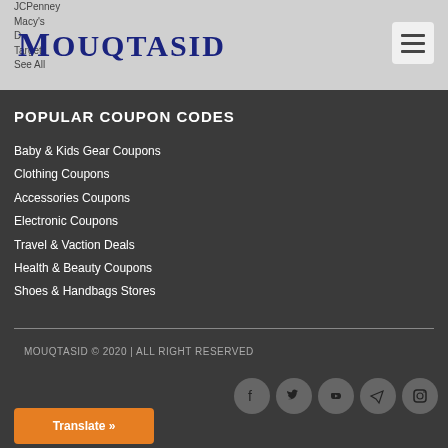Mouqtasid
JCPenney
Macy's
D...
Target
See All
POPULAR COUPON CODES
Baby & Kids Gear Coupons
Clothing Coupons
Accessories Coupons
Electronic Coupons
Travel & Vaction Deals
Health & Beauty Coupons
Shoes & Handbags Stores
MOUQTASID © 2020 | ALL RIGHT RESERVED